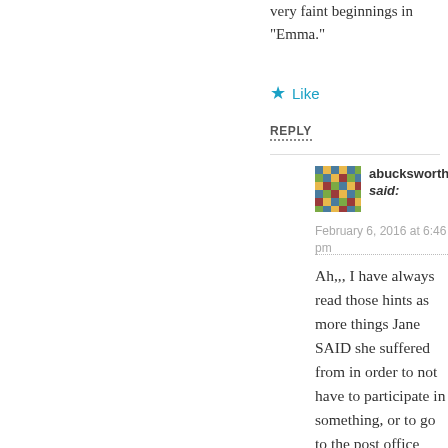very faint beginnings in “Emma.”
★ Like
REPLY
abucksworth said:
February 6, 2016 at 6:46 pm
Ah,,, I have always read those hints as more things Jane SAID she suffered from in order to not have to participate in something, or to go to the post office secretly, or in some other way to participate in her clandestine